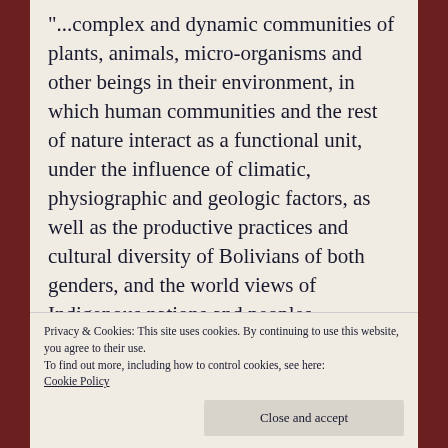"...complex and dynamic communities of plants, animals, micro-organisms and other beings in their environment, in which human communities and the rest of nature interact as a functional unit, under the influence of climatic, physiographic and geologic factors, as well as the productive practices and cultural diversity of Bolivians of both genders, and the world views of Indigenous nations and peoples, intercultural communities and the
Privacy & Cookies: This site uses cookies. By continuing to use this website, you agree to their use.
To find out more, including how to control cookies, see here:
Cookie Policy